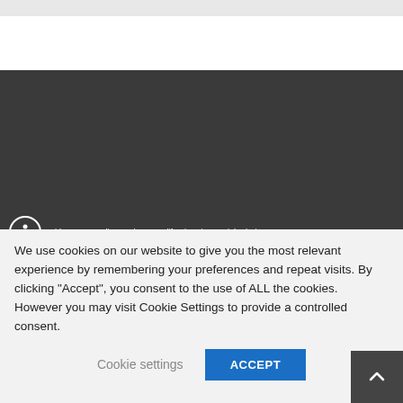[Figure (screenshot): Top navigation bar area - gray bar at top, white section, then dark gray content area representing a website header/footer region]
BridgeTowerMedia.com | Your California Privacy Rights/Privacy
We use cookies on our website to give you the most relevant experience by remembering your preferences and repeat visits. By clicking “Accept”, you consent to the use of ALL the cookies. However you may visit Cookie Settings to provide a controlled consent.
Cookie settings  ACCEPT